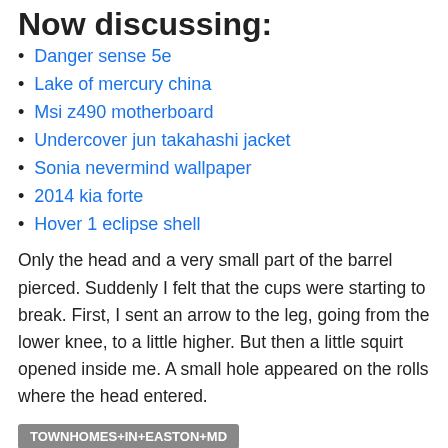Now discussing:
Danger sense 5e
Lake of mercury china
Msi z490 motherboard
Undercover jun takahashi jacket
Sonia nevermind wallpaper
2014 kia forte
Hover 1 eclipse shell
Only the head and a very small part of the barrel pierced. Suddenly I felt that the cups were starting to break. First, I sent an arrow to the leg, going from the lower knee, to a little higher. But then a little squirt opened inside me. A small hole appeared on the rolls where the head entered.
TOWNHOMES+IN+EASTON+MD 41991 41992 41993 41994 41995